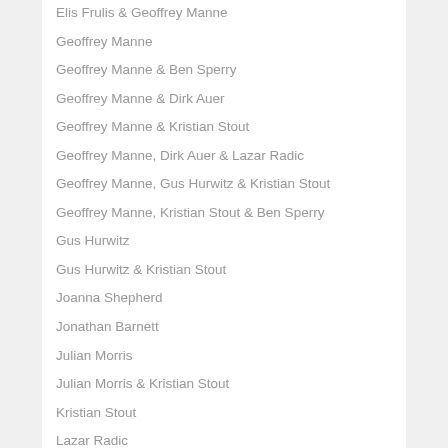Elis Frulis & Geoffrey Manne
Geoffrey Manne
Geoffrey Manne & Ben Sperry
Geoffrey Manne & Dirk Auer
Geoffrey Manne & Kristian Stout
Geoffrey Manne, Dirk Auer & Lazar Radic
Geoffrey Manne, Gus Hurwitz & Kristian Stout
Geoffrey Manne, Kristian Stout & Ben Sperry
Gus Hurwitz
Gus Hurwitz & Kristian Stout
Joanna Shepherd
Jonathan Barnett
Julian Morris
Julian Morris & Kristian Stout
Kristian Stout
Lazar Radic
Lazar Radic & Geoffrey Manne